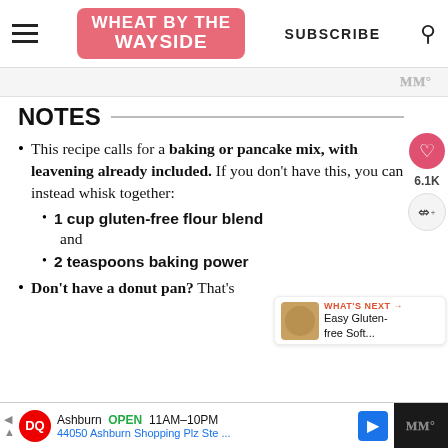WHEAT BY THE WAYSIDE | SUBSCRIBE
NOTES
This recipe calls for a baking or pancake mix, with leavening already included. If you don't have this, you can instead whisk together:
1 cup gluten-free flour blend
and
2 teaspoons baking powder
Don't have a donut pan? That's
Ashburn OPEN 11AM–10PM 44050 Ashburn Shopping Plz Ste ...